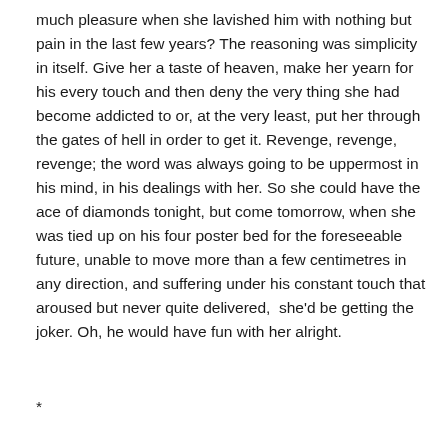much pleasure when she lavished him with nothing but pain in the last few years? The reasoning was simplicity in itself. Give her a taste of heaven, make her yearn for his every touch and then deny the very thing she had become addicted to or, at the very least, put her through the gates of hell in order to get it. Revenge, revenge, revenge; the word was always going to be uppermost in his mind, in his dealings with her. So she could have the ace of diamonds tonight, but come tomorrow, when she was tied up on his four poster bed for the foreseeable future, unable to move more than a few centimetres in any direction, and suffering under his constant touch that aroused but never quite delivered,  she'd be getting the joker. Oh, he would have fun with her alright.
*